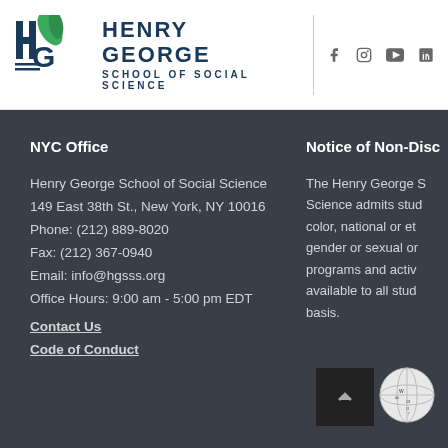[Figure (logo): Henry George School of Social Science logo with HG monogram and green leaf, followed by school name text]
[Figure (illustration): Social media icons: Facebook, Instagram, YouTube, LinkedIn]
NYC Office
Henry George School of Social Science
149 East 38th St., New York, NY 10016
Phone: (212) 889-8020
Fax: (212) 367-0940
Email: info@hgsss.org
Office Hours: 9:00 am - 5:00 pm EDT
Contact Us
Code of Conduct
Notice of Non-Disc
The Henry George S... Science admits stud... color, national or et... gender or sexual or... programs and activ... available to all stud... basis.
[Figure (illustration): Wikipedia globe logo and scroll-to-top button]